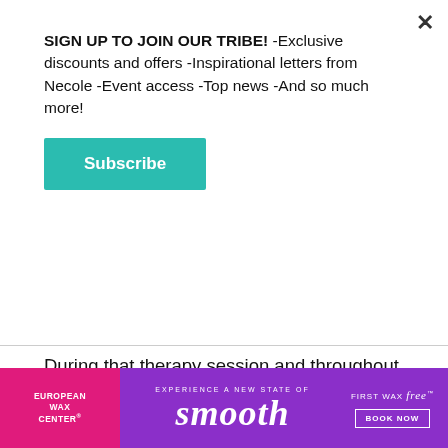SIGN UP TO JOIN OUR TRIBE! -Exclusive discounts and offers -Inspirational letters from Necole -Event access -Top news -And so much more!
Subscribe
During that therapy session and throughout season two, the audience saw the not-so-Instagram-able moments of her relationship with Jaylenn. "I'm not the perfect girlfriend, and he's not the perfect boyfriend, but we're getting there. We have this mutual respect and love that was good for Instagram and TV, but obviously, we're missing it," Tylynn says of her relationship being in the public
[Figure (other): Advertisement banner for European Wax Center featuring the word 'smooth' on a purple background with pink left panel and 'First Wax Free - Book Now' call to action on the right.]